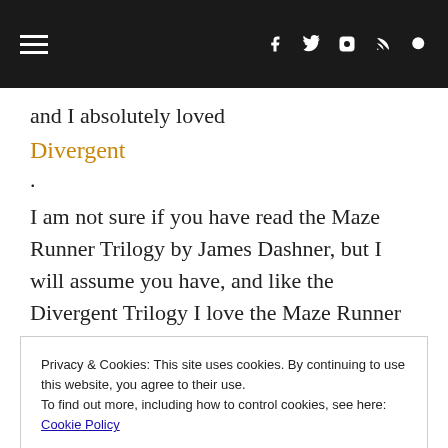Navigation bar with hamburger menu and social icons (Facebook, Twitter, Instagram, RSS, Search)
and I absolutely loved
Divergent
.
I am not sure if you have read the Maze Runner Trilogy by James Dashner, but I will assume you have, and like the Divergent Trilogy I love the Maze Runner Trilogy. Now this is where my question comes in: By the ending of
Privacy & Cookies: This site uses cookies. By continuing to use this website, you agree to their use.
To find out more, including how to control cookies, see here: Cookie Policy
Close and accept
even though Dashner is fond of